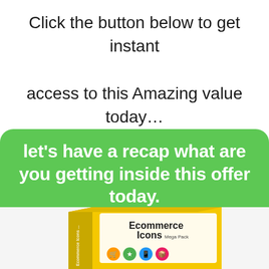Click the button below to get instant access to this Amazing value today…
let's have a recap what are you getting inside this offer today.
[Figure (illustration): Yellow product box labeled 'Ecommerce Icons Mega Pack' with colorful ecommerce icons visible on the front face]